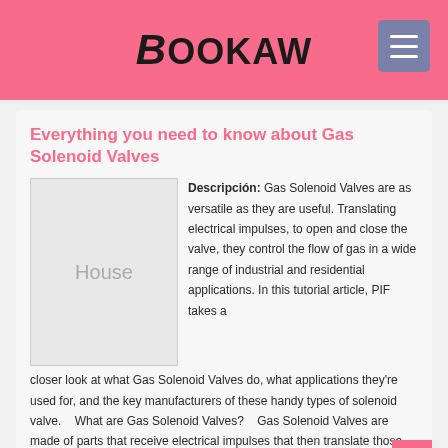BOOKAW
Everything you need to know about Gas Solenoid Valves
[Figure (illustration): Placeholder image labeled 'House']
Descripción: Gas Solenoid Valves are as versatile as they are useful. Translating electrical impulses, to open and close the valve, they control the flow of gas in a wide range of industrial and residential applications. In this tutorial article, PIF takes a closer look at what Gas Solenoid Valves do, what applications they're used for, and the key manufacturers of these handy types of solenoid valve.    What are Gas Solenoid Valves?    Gas Solenoid Valves are made of parts that receive electrical impulses that then translate those impulses into mechanical movements.